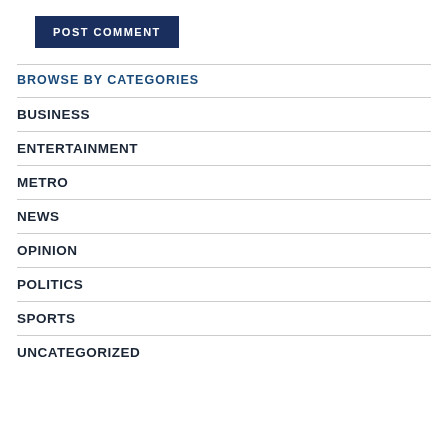POST COMMENT
BROWSE BY CATEGORIES
BUSINESS
ENTERTAINMENT
METRO
NEWS
OPINION
POLITICS
SPORTS
UNCATEGORIZED